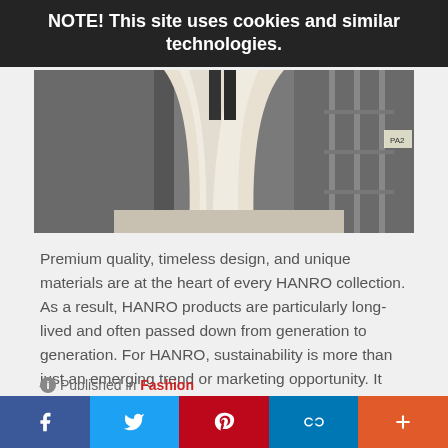NOTE! This site uses cookies and similar technologies.
[Figure (photo): Industrial fabric/textile hanging in a large facility with metal scaffolding and equipment, showing white/cream draped material.]
Premium quality, timeless design, and unique materials are at the heart of every HANRO collection. As a result, HANRO products are particularly long-lived and often passed down from generation to generation. For HANRO, sustainability is more than just an emerging trend or marketing opportunity. It has always been part of the brand's DNA, and an embodiment of tradition.
Published in Fashion
[Figure (infographic): Social sharing bar with Facebook, Twitter, Pinterest, chain-link, and plus icons.]